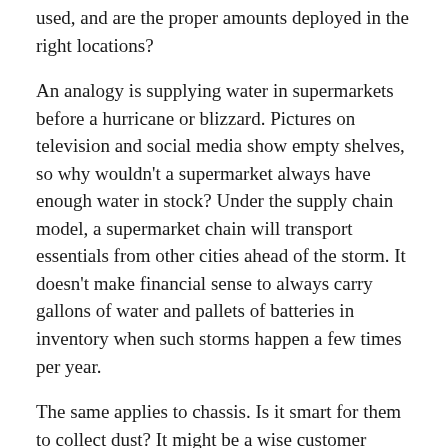used, and are the proper amounts deployed in the right locations?
An analogy is supplying water in supermarkets before a hurricane or blizzard. Pictures on television and social media show empty shelves, so why wouldn't a supermarket always have enough water in stock? Under the supply chain model, a supermarket chain will transport essentials from other cities ahead of the storm. It doesn't make financial sense to always carry gallons of water and pallets of batteries in inventory when such storms happen a few times per year.
The same applies to chassis. Is it smart for them to collect dust? It might be a wise customer service goal but an unwise and costly business decision.
“It’s a tough balancing act for us or anyone,” acknowledged Shawn Tibbetts, COO of the Virginia Port Authority, which owns the Hampton Roads Chassis Pool II. “We plan for the peak, but then we look at the valleys in